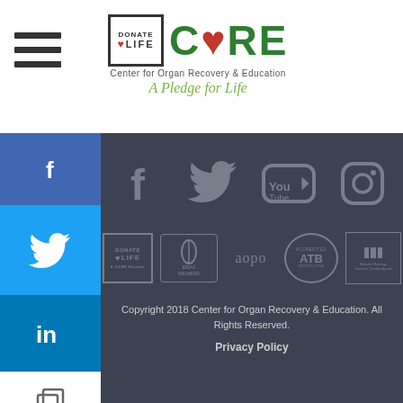[Figure (logo): CORE - Center for Organ Recovery & Education logo with Donate Life badge and tagline 'A Pledge for Life']
[Figure (infographic): Social media sharing sidebar with Facebook (blue), Twitter (light blue), LinkedIn (dark blue) buttons, copy and email icons, and a plus button]
[Figure (infographic): Footer with social media icons (Facebook, Twitter, YouTube, Instagram) in gray on dark background, and partner/accreditation logos (Donate Life, EBAA Member, aopo, ATB Accredited Institution, Malcolm Baldrige award)]
Copyright 2018 Center for Organ Recovery & Education. All Rights Reserved.
Privacy Policy